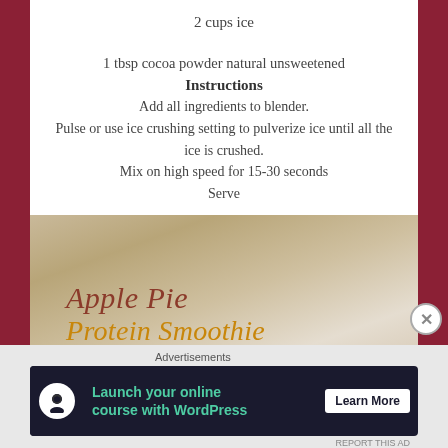2 cups ice
1 tbsp cocoa powder natural unsweetened
Instructions
Add all ingredients to blender.
Pulse or use ice crushing setting to pulverize ice until all the ice is crushed.
Mix on high speed for 15-30 seconds
Serve
[Figure (photo): Image of Apple Pie Protein Smoothie text overlaid on a blurred photo of a smoothie glass with golden/beige background]
Advertisements
[Figure (other): Advertisement banner for WordPress online course with 'Launch your online course with WordPress' and 'Learn More' button]